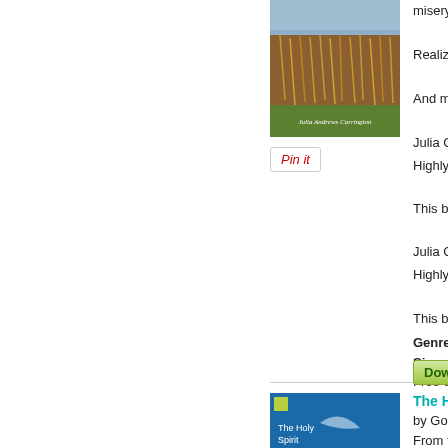[Figure (illustration): Book cover with beach grass and ocean scene, green bottom band with cursive author name Julia Andrews Carrington]
[Figure (illustration): Pin it button with red cursive text]
misery for
Realizing t
And more...
Julia Carrin
Highly reco
This book r
Julia Carrin
Highly reco
This book r
Genre: No
Size: 21 pa
Free eBoo
[Figure (illustration): Download button with green gradient]
[Figure (illustration): Book cover for The Holy Spirit with blue background and dove feather]
The Ho
by Gobel B
From the I